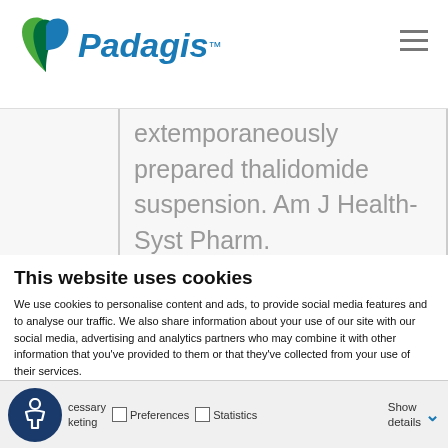Padagis
extemporaneously prepared thalidomide suspension. Am J Health-Syst Pharm. 2011:69(1):56-58.
This website uses cookies
We use cookies to personalise content and ads, to provide social media features and to analyse our traffic. We also share information about your use of our site with our social media, advertising and analytics partners who may combine it with other information that you've provided to them or that they've collected from your use of their services.
Allow all cookies
Allow selection
Use necessary cookies only
Necessary Preferences Statistics Marketing Show details